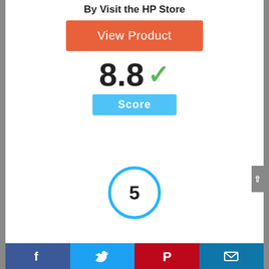By Visit the HP Store
[Figure (other): Orange 'View Product' button]
8.8 ✓
Score
5
[Figure (photo): HP Advanced Photo Paper product image]
Facebook | Twitter | Pinterest | Email